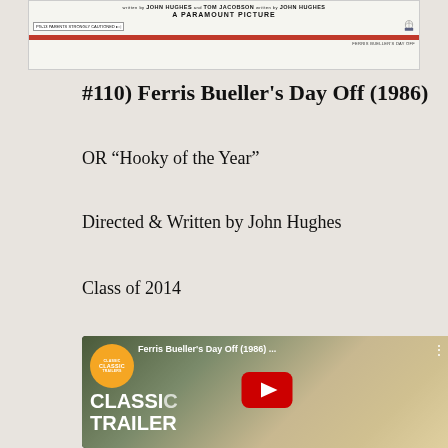[Figure (photo): Ferris Bueller's Day Off (1986) movie banner/poster header. Shows credits: written by John Hughes and Tom Jacobson, written by John Hughes, A Paramount Picture. Includes PG-13 rating box, Paramount mountain logo, red bar, and bottom text.]
#110) Ferris Bueller's Day Off (1986)
OR “Hooky of the Year”
Directed & Written by John Hughes
Class of 2014
[Figure (screenshot): YouTube video thumbnail for Ferris Bueller's Day Off (1986) classic trailer. Shows a young man smiling in a beret, with Classic Trailers badge (orange circle) in top left, video title 'Ferris Bueller's Day Off (1986) ...' in white text, three-dot menu icon, 'CLASSIC TRAILER' text overlay in white bold, and YouTube red play button in center.]